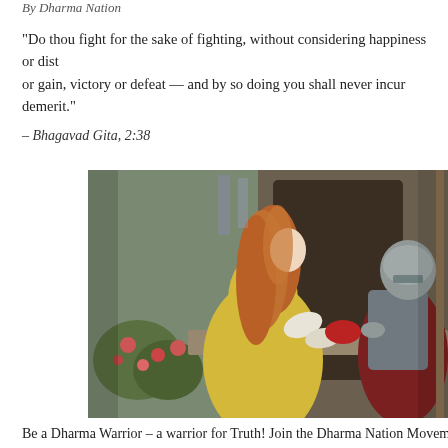By Dharma Nation
“Do thou fight for the sake of fighting, without considering happiness or dist or gain, victory or defeat — and by so doing you shall never incur demerit.”
– Bhagavad Gita, 2:38
[Figure (illustration): A Pre-Raphaelite style painting depicting a noblewoman in a golden gown leaning over a balcony or ledge toward an armored knight in chainmail and helmet, with roses and banners visible in the background.]
Be a Dharma Warrior – a warrior for Truth! Join the Dharma Nation Movem